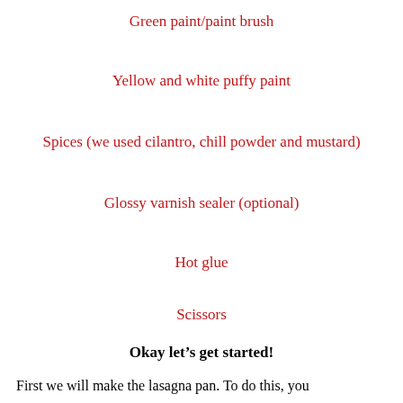Green paint/paint brush
Yellow and white puffy paint
Spices (we used cilantro, chill powder and mustard)
Glossy varnish sealer (optional)
Hot glue
Scissors
Okay let's get started!
First we will make the lasagna pan. To do this, you